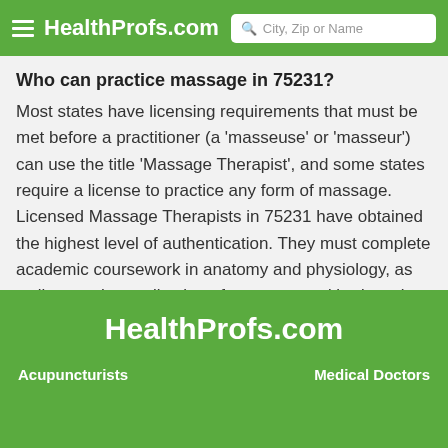HealthProfs.com  City, Zip or Name
Who can practice massage in 75231?
Most states have licensing requirements that must be met before a practitioner (a 'masseuse' or 'masseur') can use the title 'Massage Therapist', and some states require a license to practice any form of massage. Licensed Massage Therapists in 75231 have obtained the highest level of authentication. They must complete academic coursework in anatomy and physiology, as well as on the application of massage and bodywork, business and ethics, and specialized massage techniques. The 75231 LMT must then pass a certification exam.
HealthProfs.com  Acupuncturists  Medical Doctors